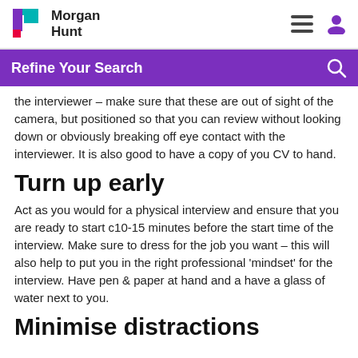Morgan Hunt
Refine Your Search
the interviewer – make sure that these are out of sight of the camera, but positioned so that you can review without looking down or obviously breaking off eye contact with the interviewer. It is also good to have a copy of you CV to hand.
Turn up early
Act as you would for a physical interview and ensure that you are ready to start c10-15 minutes before the start time of the interview. Make sure to dress for the job you want – this will also help to put you in the right professional 'mindset' for the interview. Have pen & paper at hand and a have a glass of water next to you.
Minimise distractions